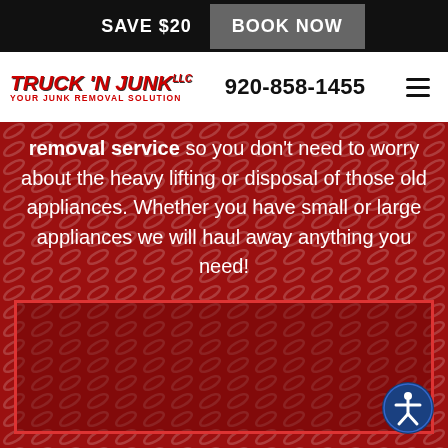SAVE $20   BOOK NOW
[Figure (logo): Truck N Junk LLC logo with red italic text and tagline 'Your Junk Removal Solution']
920-858-1455
removal service so you don't need to worry about the heavy lifting or disposal of those old appliances. Whether you have small or large appliances we will haul away anything you need!
[Figure (other): Red diamond plate background with a red-bordered rectangular box]
[Figure (illustration): Accessibility icon button (person in circle) in dark blue circle, bottom right corner]